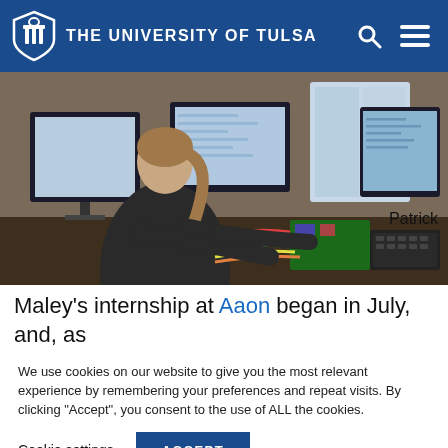THE UNIVERSITY OF TULSA
[Figure (photo): A student working at a computer workstation with multiple monitors, electronic components, and circuit boards visible on the desk.]
Patrick
Maley's internship at Aaon began in July, and, as
We use cookies on our website to give you the most relevant experience by remembering your preferences and repeat visits. By clicking "Accept", you consent to the use of ALL the cookies.
Cookie settings
ACCEPT